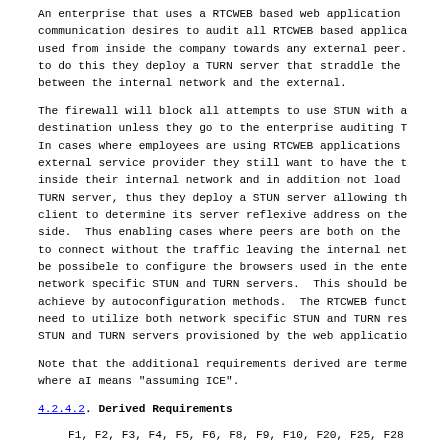An enterprise that uses a RTCWEB based web application
communication desires to audit all RTCWEB based applica
used from inside the company towards any external peer.
to do this they deploy a TURN server that straddle the
between the internal network and the external.
The firewall will block all attempts to use STUN with a
destination unless they go to the enterprise auditing T
In cases where employees are using RTCWEB applications
external service provider they still want to have the t
inside their internal network and in addition not load
TURN server, thus they deploy a STUN server allowing th
client to determine its server reflexive address on the
side.  Thus enabling cases where peers are both on the
to connect without the traffic leaving the internal net
be possibele to configure the browsers used in the ente
network specific STUN and TURN servers.  This should be
achieve by autoconfiguration methods.  The RTCWEB funct
need to utilize both network specific STUN and TURN res
STUN and TURN servers provisioned by the web applicatio
Note that the additional requirements derived are terme
where aI means "assuming ICE".
4.2.4.2.  Derived Requirements
F1, F2, F3, F4, F5, F6, F8, F9, F10, F20, F25, F28
FaI2